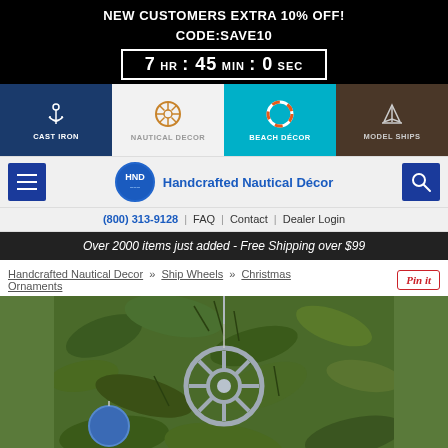NEW CUSTOMERS EXTRA 10% OFF!
CODE:SAVE10
7 HR : 45 MIN : 0 SEC
[Figure (screenshot): Navigation category bar with 4 icons: Cast Iron (anchor on navy), Nautical Decor (ship wheel on white), Beach Décor (life ring on teal), Model Ships (sailboat on brown)]
[Figure (logo): HND logo circle with 'Handcrafted Nautical Décor' text, menu button and search button]
(800) 313-9128  |  FAQ  |  Contact  |  Dealer Login
Over 2000 items just added - Free Shipping over $99
Handcrafted Nautical Decor » Ship Wheels » Christmas Ornaments
[Figure (photo): Product photo of a silver ship wheel Christmas ornament hanging on a Christmas tree with pine branches]